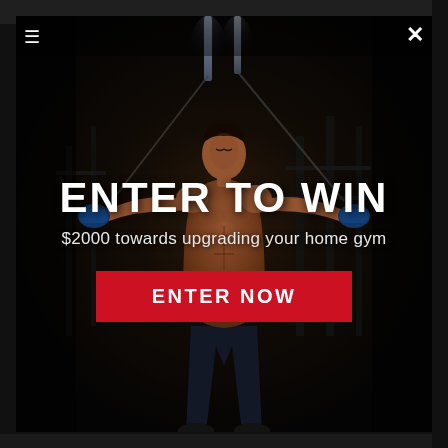[Figure (photo): Popup modal over a website. A muscular shirtless male athlete stands in a dark gym with arms spread wide holding blue handles/rings attached to cables. The background shows gym equipment in near-darkness with fluorescent tube lights above. The modal has a close (X) button in the top right.]
ENTER TO WIN
$2000 towards upgrading your home gym
ENTER NOW